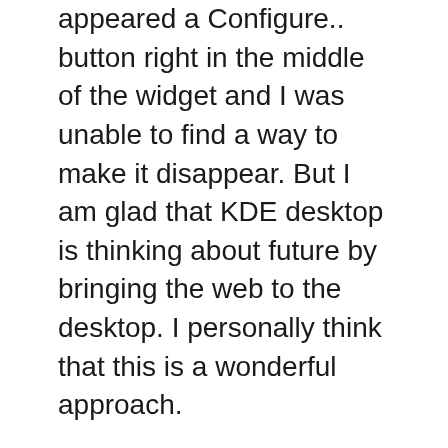appeared a Configure.. button right in the middle of the widget and I was unable to find a way to make it disappear. But I am glad that KDE desktop is thinking about future by bringing the web to the desktop. I personally think that this is a wonderful approach.
In Kubuntu Karmic, OpenOffice feels more like home and so do some other GTK+ applications. Also there are many improvements in KDE applications. Like Amarok is using the latest release candidate, there is DBpedia an application to look for reference. I don’t know why I would use an application instead of web browser to look up at Wikipedia?
Overall I am very impressed with Kubuntu 9.10 Karmic Koala Beta. But I would like to warn you that there are